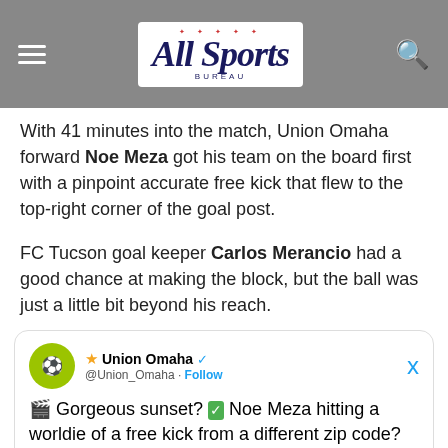All Sports
With 41 minutes into the match, Union Omaha forward Noe Meza got his team on the board first with a pinpoint accurate free kick that flew to the top-right corner of the goal post.
FC Tucson goal keeper Carlos Merancio had a good chance at making the block, but the ball was just a little bit beyond his reach.
[Figure (screenshot): Embedded tweet from @Union_Omaha with text: 🎬 Gorgeous sunset? ✅ Noe Meza hitting a worldie of a free kick from a different zip code? ✅ #OneMeansAll | #TUCvOMA]
#OneMeansAll | #TUCvOMA